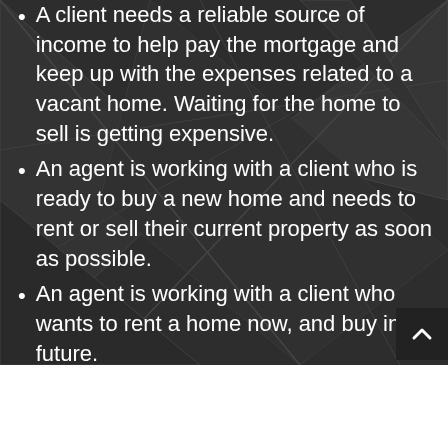A client needs a reliable source of income to help pay the mortgage and keep up with the expenses related to a vacant home. Waiting for the home to sell is getting expensive.
An agent is working with a client who is ready to buy a new home and needs to rent or sell their current property as soon as possible.
An agent is working with a client who wants to rent a home now, and buy in the future.